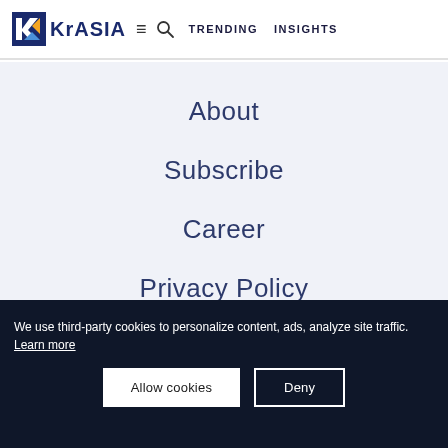KrASIA — TRENDING   INSIGHTS
About
Subscribe
Career
Privacy Policy
We use third-party cookies to personalize content, ads, analyze site traffic. Learn more
Allow cookies   Deny